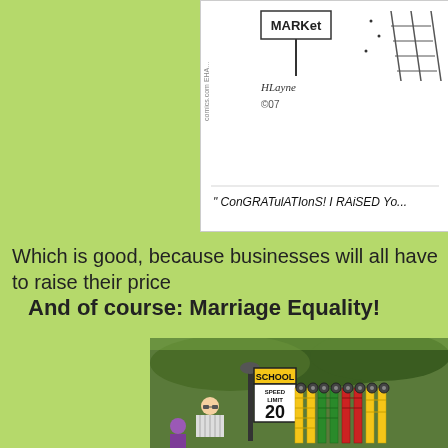[Figure (illustration): Cartoon comic strip showing a market sign and the text 'CONGRATULATIONS! I RAISED YOU...' at the bottom]
Which is good, because businesses will all have to raise their price
And of course: Marriage Equality!
[Figure (photo): Outdoor scene showing a man among rows of colorful ladders (yellow, green, red) with small wheeled toy cars on top, with a School Speed Limit 20 sign and trees in background]